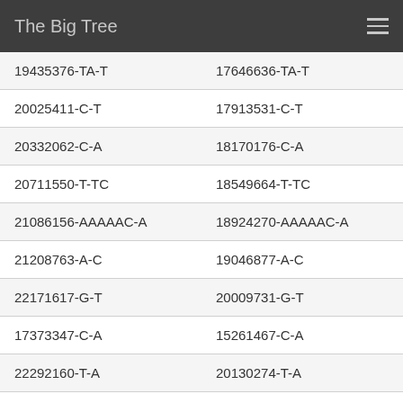The Big Tree
| 19435376-TA-T | 17646636-TA-T |
| 20025411-C-T | 17913531-C-T |
| 20332062-C-A | 18170176-C-A |
| 20711550-T-TC | 18549664-T-TC |
| 21086156-AAAAAC-A | 18924270-AAAAAC-A |
| 21208763-A-C | 19046877-A-C |
| 22171617-G-T | 20009731-G-T |
| 17373347-C-A | 15261467-C-A |
| 22292160-T-A | 20130274-T-A |
| 23529702-G-T | 21367816-G-T |
| 24127460-G-T | 21981313-G-T |